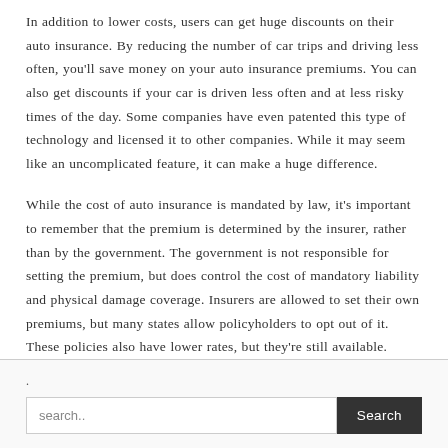In addition to lower costs, users can get huge discounts on their auto insurance. By reducing the number of car trips and driving less often, you'll save money on your auto insurance premiums. You can also get discounts if your car is driven less often and at less risky times of the day. Some companies have even patented this type of technology and licensed it to other companies. While it may seem like an uncomplicated feature, it can make a huge difference.
While the cost of auto insurance is mandated by law, it's important to remember that the premium is determined by the insurer, rather than by the government. The government is not responsible for setting the premium, but does control the cost of mandatory liability and physical damage coverage. Insurers are allowed to set their own premiums, but many states allow policyholders to opt out of it. These policies also have lower rates, but they're still available.
.